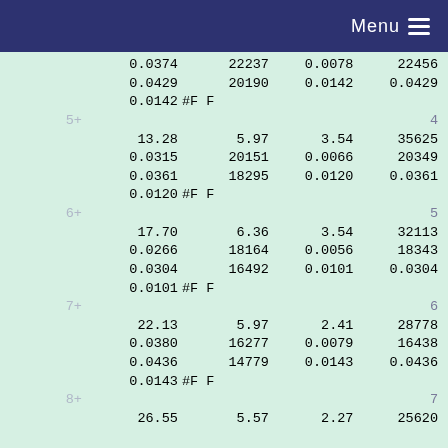Menu
|  |  | 0.0374 | 22237 | 0.0078 | 22456 |
|  |  | 0.0429 | 20190 | 0.0142 | 0.0429 |
|  |  | 0.0142 | #F F |  |  |
| 5 | + |  |  |  | 4 |
|  |  | 13.28 | 5.97 | 3.54 | 35625 |
|  |  | 0.0315 | 20151 | 0.0066 | 20349 |
|  |  | 0.0361 | 18295 | 0.0120 | 0.0361 |
|  |  | 0.0120 | #F F |  |  |
| 6 | + |  |  |  | 5 |
|  |  | 17.70 | 6.36 | 3.54 | 32113 |
|  |  | 0.0266 | 18164 | 0.0056 | 18343 |
|  |  | 0.0304 | 16492 | 0.0101 | 0.0304 |
|  |  | 0.0101 | #F F |  |  |
| 7 | + |  |  |  | 6 |
|  |  | 22.13 | 5.97 | 2.41 | 28778 |
|  |  | 0.0380 | 16277 | 0.0079 | 16438 |
|  |  | 0.0436 | 14779 | 0.0143 | 0.0436 |
|  |  | 0.0143 | #F F |  |  |
| 8 | + |  |  |  | 7 |
|  |  | 26.55 | 5.57 | 2.27 | 25620 |